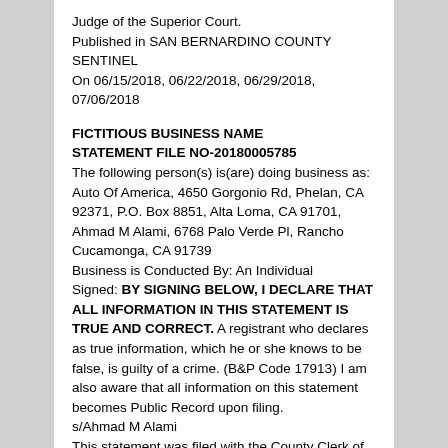Judge of the Superior Court.
Published in SAN BERNARDINO COUNTY SENTINEL
On 06/15/2018, 06/22/2018, 06/29/2018, 07/06/2018
FICTITIOUS BUSINESS NAME STATEMENT FILE NO-20180005785
The following person(s) is(are) doing business as: Auto Of America, 4650 Gorgonio Rd, Phelan, CA 92371, P.O. Box 8851, Alta Loma, CA 91701, Ahmad M Alami, 6768 Palo Verde Pl, Rancho Cucamonga, CA 91739
Business is Conducted By: An Individual
Signed: BY SIGNING BELOW, I DECLARE THAT ALL INFORMATION IN THIS STATEMENT IS TRUE AND CORRECT. A registrant who declares as true information, which he or she knows to be false, is guilty of a crime. (B&P Code 17913) I am also aware that all information on this statement becomes Public Record upon filing.
s/Ahmad M Alami
This statement was filed with the County Clerk of San Bernardino on: 5/16/2018
I hereby certify that this is a correct copy of the original